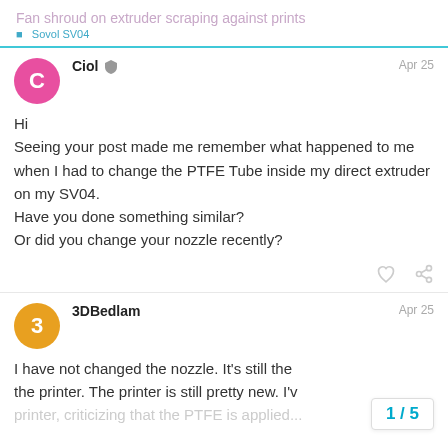Fan shroud on extruder scraping against prints
Ciol  Apr 25
Hi
Seeing your post made me remember what happened to me when I had to change the PTFE Tube inside my direct extruder on my SV04.
Have you done something similar?
Or did you change your nozzle recently?
3DBedlam  Apr 25
I have not changed the nozzle. It's still the the printer. The printer is still pretty new. I'v